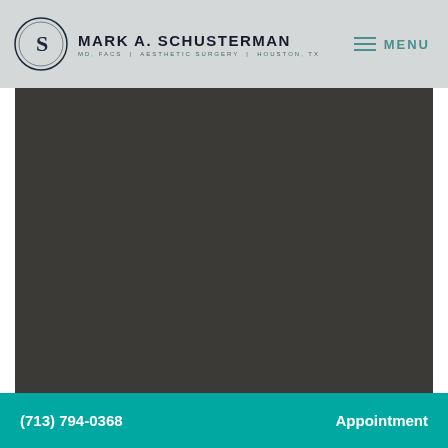MARK A. SCHUSTERMAN MD, FACS | AESTHETIC SURGERY | HOUSTON, TX
[Figure (logo): Mark A. Schusterman MD logo with circular emblem containing stylized S]
[Figure (photo): Dark background main content area, likely a before/after surgical photo or decorative image]
(713) 794-0368   Appointment